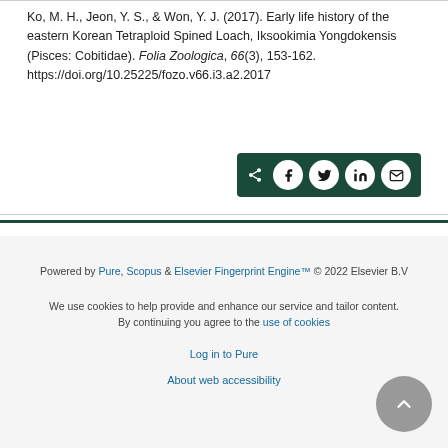Ko, M. H., Jeon, Y. S., & Won, Y. J. (2017). Early life history of the eastern Korean Tetraploid Spined Loach, Iksookimia Yongdokensis (Pisces: Cobitidae). Folia Zoologica, 66(3), 153-162. https://doi.org/10.25225/fozo.v66.i3.a2.2017
[Figure (other): Social share bar with icons for Facebook, Twitter, LinkedIn, and Email on a dark green background]
Powered by Pure, Scopus & Elsevier Fingerprint Engine™ © 2022 Elsevier B.V
We use cookies to help provide and enhance our service and tailor content. By continuing you agree to the use of cookies
Log in to Pure
About web accessibility